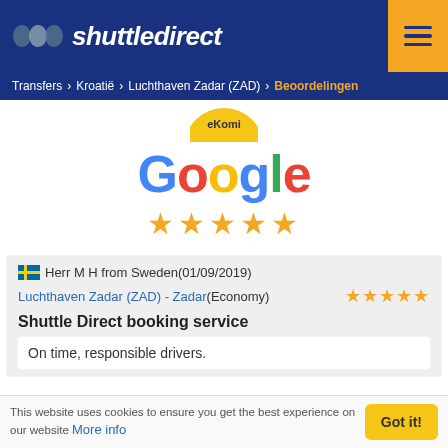shuttledirect
Transfers > Kroatië > Luchthaven Zadar (ZAD) > Beoordelingen
[Figure (logo): eKomi badge partially visible at top]
[Figure (logo): Google logo text in Google brand colors]
[Figure (other): Five golden stars rating]
Herr M H from Sweden(01/09/2019)
Luchthaven Zadar (ZAD) - Zadar(Economy)
Shuttle Direct booking service
On time, responsible drivers.
This website uses cookies to ensure you get the best experience on our website More info